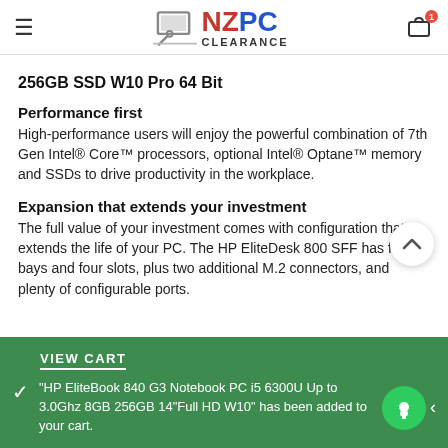NZPC CLEARANCE
256GB SSD W10 Pro 64 Bit
Performance first
High-performance users will enjoy the powerful combination of 7th Gen Intel® Core™ processors, optional Intel® Optane™ memory and SSDs to drive productivity in the workplace.
Expansion that extends your investment
The full value of your investment comes with configuration that extends the life of your PC. The HP EliteDesk 800 SFF has four bays and four slots, plus two additional M.2 connectors, and plenty of configurable ports.
VIEW CART
"HP EliteBook 840 G3 Notebook PC i5 6300U Up to 3.0Ghz 8GB 256GB 14"Full HD W10" has been added to your cart.